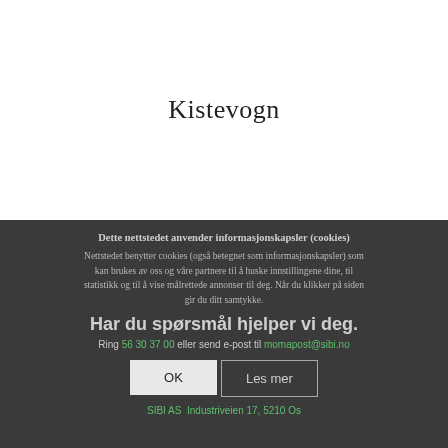Kistevogn
Dette nettstedet anvender informasjonskapsler (cookies)
Nettstedet benytter cookies (også betegnet som informasjonskapsler) som kan brukes av oss og våre partnere til å huske innstillingene dine, til statistikk og til å vise målrettede annonser til deg. Når du klikker på siden gir du ditt samtykke.
Har du spørsmål hjelper vi deg.
Ring 56 30 37 00 eller send e-post til momapost@sibi.no
OK
Les mer
SIBI AS  Industriveien 17, 5210 Os